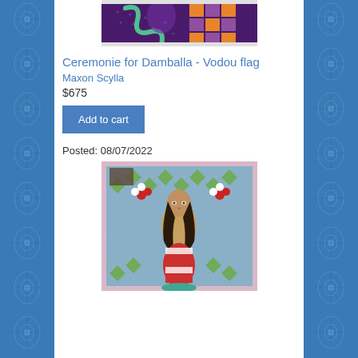[Figure (photo): Top portion of a beaded Vodou flag artwork with purple and orange checkerboard pattern on black background]
Ceremonie for Damballa - Vodou flag
Maxon Scylla
$675
Add to cart
Posted: 08/07/2022
[Figure (photo): Beaded Vodou flag depicting a mermaid figure (Lasirenn) with long dark hair, seated, with red and white striped tail, on a grey and green diamond-patterned background with floral motifs]